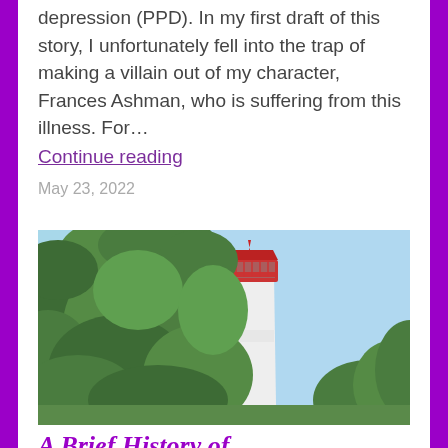depression (PPD). In my first draft of this story, I unfortunately fell into the trap of making a villain out of my character, Frances Ashman, who is suffering from this illness. For…
Continue reading
May 23, 2022
[Figure (photo): Photograph of a lighthouse with a red top and white tower, partially surrounded by green trees, against a blue sky]
A Brief History of